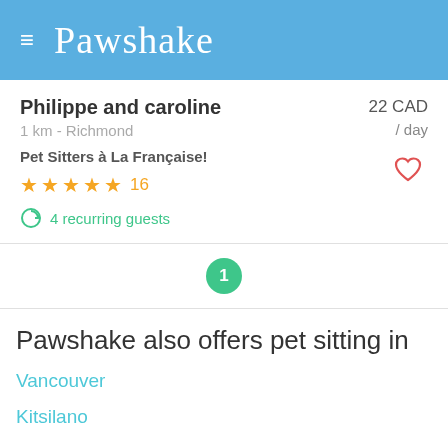Pawshake
Philippe and caroline
1 km - Richmond
22 CAD / day
Pet Sitters à La Française!
★★★★★ 16
4 recurring guests
1
Pawshake also offers pet sitting in
Vancouver
Kitsilano